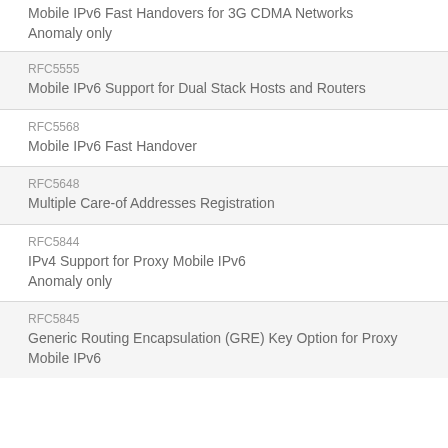Mobile IPv6 Fast Handovers for 3G CDMA Networks
Anomaly only
RFC5555
Mobile IPv6 Support for Dual Stack Hosts and Routers
RFC5568
Mobile IPv6 Fast Handover
RFC5648
Multiple Care-of Addresses Registration
RFC5844
IPv4 Support for Proxy Mobile IPv6
Anomaly only
RFC5845
Generic Routing Encapsulation (GRE) Key Option for Proxy Mobile IPv6